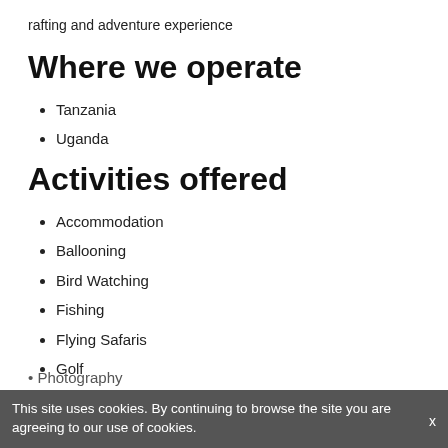rafting and adventure experience
Where we operate
Tanzania
Uganda
Activities offered
Accommodation
Ballooning
Bird Watching
Fishing
Flying Safaris
Golf
Photography
This site uses cookies. By continuing to browse the site you are agreeing to our use of cookies.